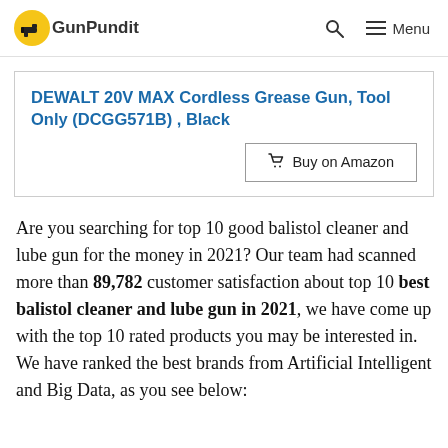GunPundit | Search | Menu
DEWALT 20V MAX Cordless Grease Gun, Tool Only (DCGG571B) , Black
Buy on Amazon
Are you searching for top 10 good balistol cleaner and lube gun for the money in 2021? Our team had scanned more than 89,782 customer satisfaction about top 10 best balistol cleaner and lube gun in 2021, we have come up with the top 10 rated products you may be interested in. We have ranked the best brands from Artificial Intelligent and Big Data, as you see below: